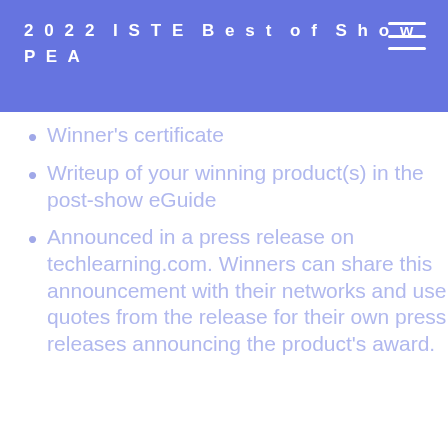2022 ISTE Best of Show
PEA
Winner's certificate
Writeup of your winning product(s) in the post-show eGuide
Announced in a press release on techlearning.com. Winners can share this announcement with their networks and use quotes from the release for their own press releases announcing the product's award.